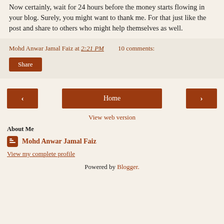Now certainly, wait for 24 hours before the money starts flowing in your blog. Surely, you might want to thank me. For that just like the post and share to others who might help themselves as well.
Mohd Anwar Jamal Faiz at 2:21 PM   10 comments:
Share
Home
View web version
About Me
Mohd Anwar Jamal Faiz
View my complete profile
Powered by Blogger.